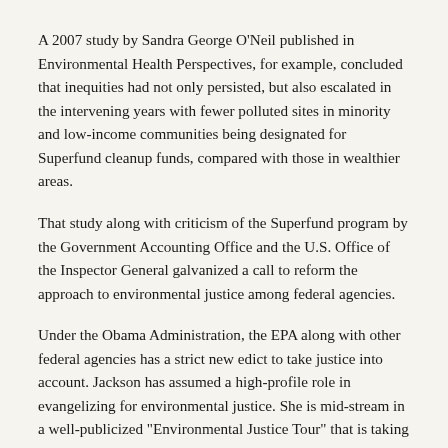A 2007 study by Sandra George O'Neil published in Environmental Health Perspectives, for example, concluded that inequities had not only persisted, but also escalated in the intervening years with fewer polluted sites in minority and low-income communities being designated for Superfund cleanup funds, compared with those in wealthier areas.
That study along with criticism of the Superfund program by the Government Accounting Office and the U.S. Office of the Inspector General galvanized a call to reform the approach to environmental justice among federal agencies.
Under the Obama Administration, the EPA along with other federal agencies has a strict new edict to take justice into account. Jackson has assumed a high-profile role in evangelizing for environmental justice. She is mid-stream in a well-publicized "Environmental Justice Tour" that is taking her around the country visiting communities beleaguered by toxic waste.